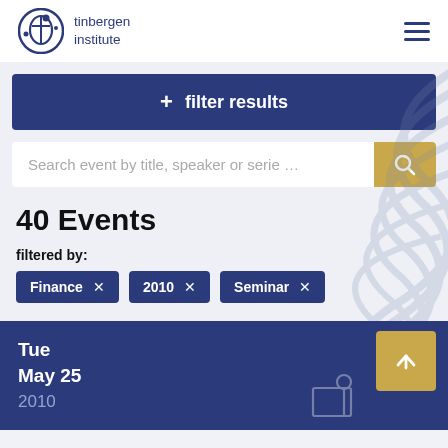tinbergen institute
+ filter results
Search event by title, speaker or serie …
40 Events
filtered by:
Finance ×
2010 ×
Seminar ×
Tue
May 25
2010